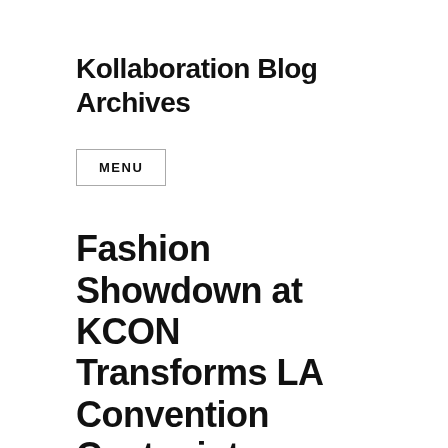Kollaboration Blog Archives
MENU
Fashion Showdown at KCON Transforms LA Convention Center into Garosu-gil
To Koreans, fashion is no joke. With popular designers and brands like Jeremy Scott, Boy London, and HIGHNOBIETY showcasing their